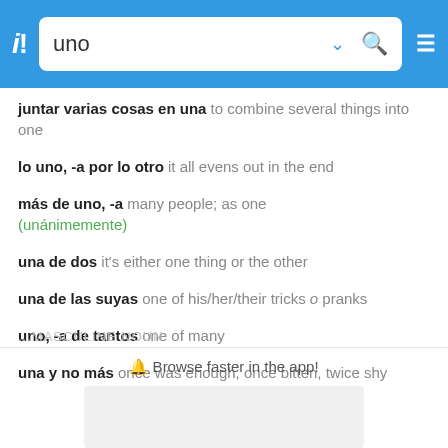uno
juntar varias cosas en una to combine several things into one
lo uno, -a por lo otro it all evens out in the end
más de uno, -a many people; as one (unánimemente)
una de dos it's either one thing or the other
una de las suyas one of his/her/their tricks o pranks
uno, -a de tantos one of many
una y no más once was enough, once bitten, twice shy
... MASCULINE NOUN
🔔 Browse faster in the app!